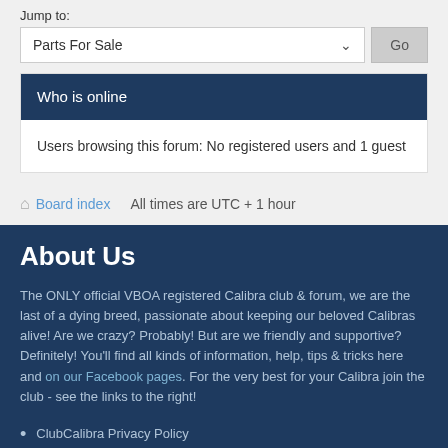Jump to:
Parts For Sale
Who is online
Users browsing this forum: No registered users and 1 guest
Board index   All times are UTC + 1 hour
About Us
The ONLY official VBOA registered Calibra club & forum, we are the last of a dying breed, passionate about keeping our beloved Calibras alive! Are we crazy? Probably! But are we friendly and supportive? Definitely! You'll find all kinds of information, help, tips & tricks here and on our Facebook pages. For the very best for your Calibra join the club - see the links to the right!
ClubCalibra Privacy Policy